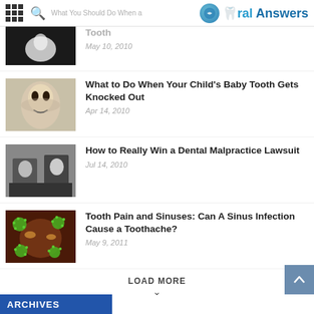Oral Answers - What You Should Do When a Tooth | May 10, 2010
Tooth
May 10, 2010
What to Do When Your Child's Baby Tooth Gets Knocked Out
Apr 14, 2010
How to Really Win a Dental Malpractice Lawsuit
Jul 14, 2010
Tooth Pain and Sinuses: Can A Sinus Infection Cause a Toothache?
May 9, 2011
LOAD MORE
ARCHIVES